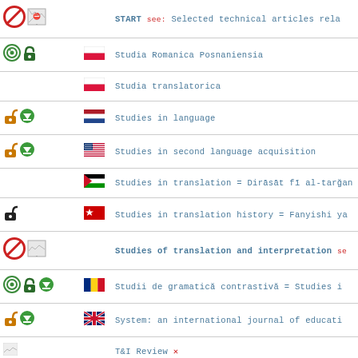START see: Selected technical articles rela...
Studia Romanica Posnaniensia
Studia translatorica
Studies in language
Studies in second language acquisition
Studies in translation = Dirāsāt fī al-tarğan...
Studies in translation history = Fanyishi ya...
Studies of translation and interpretation se...
Studii de gramatică contrastivă = Studies i...
System: an international journal of educati...
T&I Review X